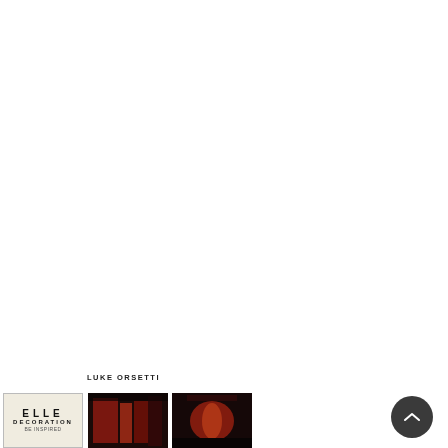OUR PRINCIPLES
LUKE ORSETTI
[Figure (photo): Elle Decoration magazine cover thumbnail]
[Figure (photo): Red interior architecture photograph thumbnail]
[Figure (photo): Red sculptural form photograph thumbnail]